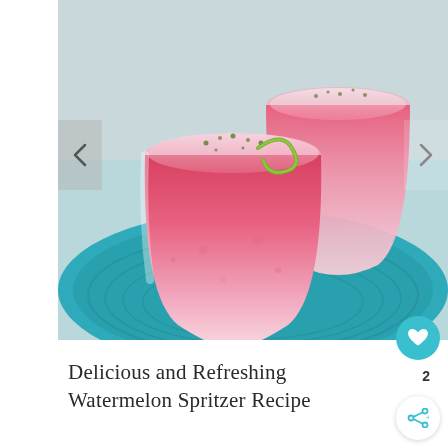[Figure (photo): Two stemless glasses filled with pink/red frozen watermelon spritzer drinks on a teal blue woven plate. The front glass has a lime garnish curl on the rim and green zest sprinkled on top. Background shows the second glass and a light gray wall.]
Delicious and Refreshing Watermelon Spritzer Recipe